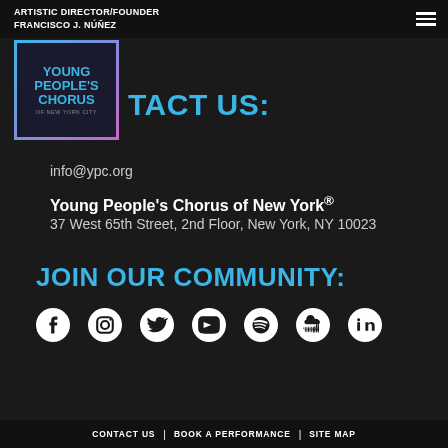ARTISTIC DIRECTOR/FOUNDER
FRANCISCO J. NÚÑEZ
[Figure (logo): Young People's Chorus of New York logo — dark square with blue/pink border, text YOUNG PEOPLE'S CHORUS OF NEW YORK CITY in teal]
CONTACT US:
info@ypc.org
Young People's Chorus of New York®
37 West 65th Street, 2nd Floor, New York, NY 10023
JOIN OUR COMMUNITY:
[Figure (infographic): Social media icons row: Facebook, Instagram, Twitter, YouTube, Spotify, SoundCloud, LinkedIn]
CONTACT US | BOOK A PERFORMANCE | SITE MAP